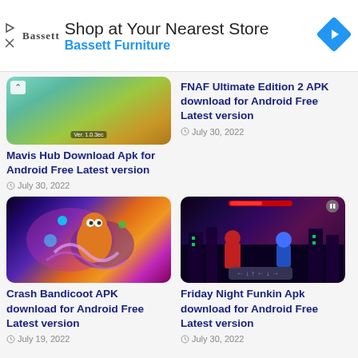[Figure (infographic): Bassett Furniture advertisement banner: 'Shop at Your Nearest Store' with Bassett logo and blue navigation icon]
[Figure (screenshot): Game screenshot with teal/green background showing 'Ver. 1.0.3ec' label]
Mavis Hub Download Apk for Android Free Latest version
July 30, 2022
FNAF Ultimate Edition 2 APK download for Android Free Latest version
July 30, 2022
[Figure (screenshot): Crash Bandicoot game screenshot with colorful background]
Crash Bandicoot APK download for Android Free Latest version
July 19, 2022
[Figure (screenshot): Friday Night Funkin game screenshot with dark purple background]
Friday Night Funkin Apk download for Android Free Latest version
July 30, 2022